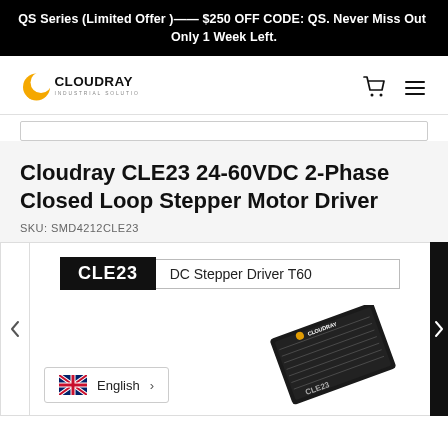QS Series (Limited Offer )—— $250 OFF CODE: QS. Never Miss Out  Only 1 Week Left.
[Figure (logo): Cloudray Industrial Solutions logo with crescent moon icon]
Cloudray CLE23 24-60VDC 2-Phase Closed Loop Stepper Motor Driver
SKU: SMD4212CLE23
[Figure (photo): Product image of CLE23 DC Stepper Driver T60 with Cloudray branding, shown at an angle on white background. Label reads 'CLE23  DC Stepper Driver T60'. Language switcher showing English with UK flag.]